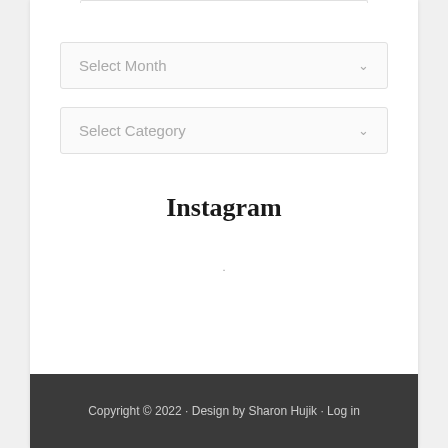[Figure (screenshot): Select Month dropdown widget with placeholder text and chevron icon]
[Figure (screenshot): Select Category dropdown widget with placeholder text and chevron icon]
Instagram
.
Copyright © 2022 · Design by Sharon Hujik · Log in